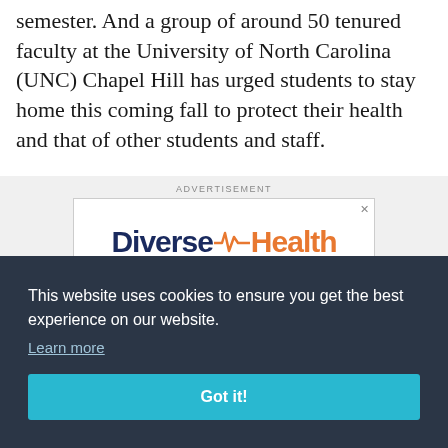semester. And a group of around 50 tenured faculty at the University of North Carolina (UNC) Chapel Hill has urged students to stay home this coming fall to protect their health and that of other students and staff.
[Figure (other): Advertisement banner for 'Diverse Health' with navy blue logo text and orange 'Health' text, with a pulse/heartbeat line graphic between the two words. Below the logo is a dark blue bar.]
This website uses cookies to ensure you get the best experience on our website.
Learn more
Got it!